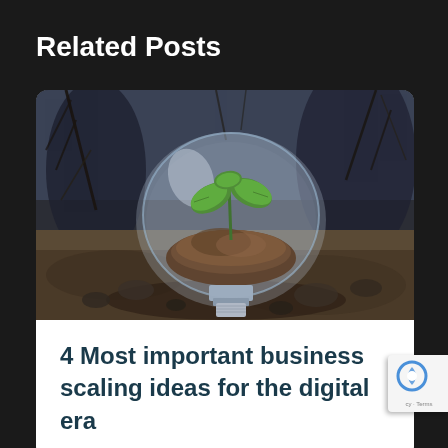Related Posts
[Figure (photo): A glass light bulb lying on its side on dark rocky ground, with a small green plant sprouting from soil inside the bulb. Branches and twigs visible in the blurred background — concept image for growth and innovation.]
4 Most important business scaling ideas for the digital era